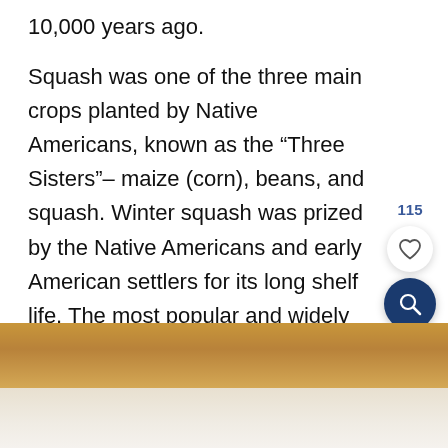10,000 years ago.
Squash was one of the three main crops planted by Native Americans, known as the “Three Sisters”– maize (corn), beans, and squash. Winter squash was prized by the Native Americans and early American settlers for its long shelf life. The most popular and widely available butternut squash is the Waltham Butternut, which was originally cultivated in Massachusetts.
[Figure (photo): A photo of a butternut squash, showing its tan/golden outer skin at the top and cream-colored flesh or interior at the bottom.]